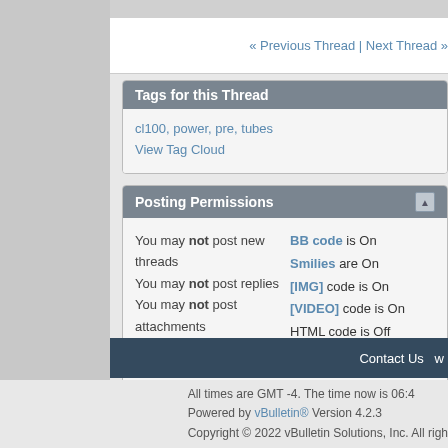« Previous Thread | Next Thread »
Tags for this Thread
cl100, power, pre, tubes
View Tag Cloud
Posting Permissions
You may not post new threads
You may not post replies
You may not post attachments
You may not edit your posts
BB code is On
Smilies are On
[IMG] code is On
[VIDEO] code is On
HTML code is Off
Forum Rules
Contact Us
All times are GMT -4. The time now is 06:4
Powered by vBulletin® Version 4.2.3
Copyright © 2022 vBulletin Solutions, Inc. All righ